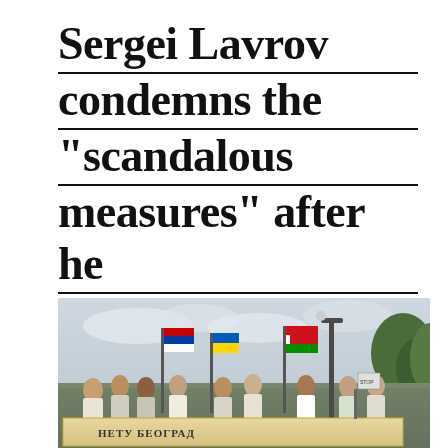Sergei Lavrov condemns the “scandalous measures” after he was prevented from traveling to Serbia
[Figure (photo): Protesters holding flags of Serbia, Ukraine, and Belarus along with a banner reading text in Cyrillic (НЕУ БЕОГРАД / No to Belgrade), gathered outdoors with trees in background.]